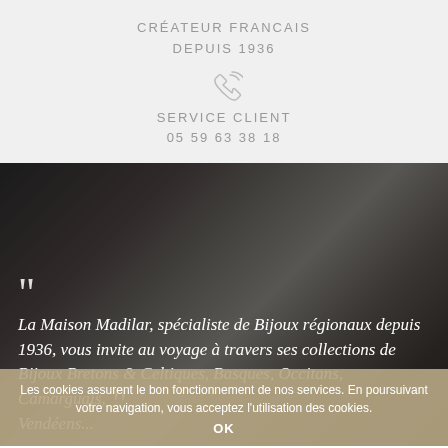CRÉATEUR FRANCAIS
DEPUIS 1936
[Figure (illustration): Phone/call icon in gray]
SERVICE CLIENT
05 59 63 38 18
[Figure (photo): Black and white photo of hands working, with italic quote text overlay: "La Maison Madilar, spécialiste de Bijoux régionaux depuis 1936, vous invite au voyage à travers ses collections de Bijoux Bretons & Celtiques, Basques, Occitans, Camarguais, Vendéens..."]
Les cookies assurent le bon fonctionnement de nos services. En poursuivant votre navigation, vous acceptez l'utilisation des cookies.
OK